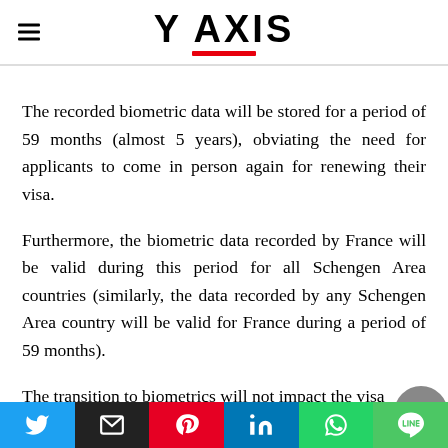Y AXIS
The recorded biometric data will be stored for a period of 59 months (almost 5 years), obviating the need for applicants to come in person again for renewing their visa.
Furthermore, the biometric data recorded by France will be valid during this period for all Schengen Area countries (similarly, the data recorded by any Schengen Area country will be valid for France during a period of 59 months).
The transition to biometrics will not impact the visa